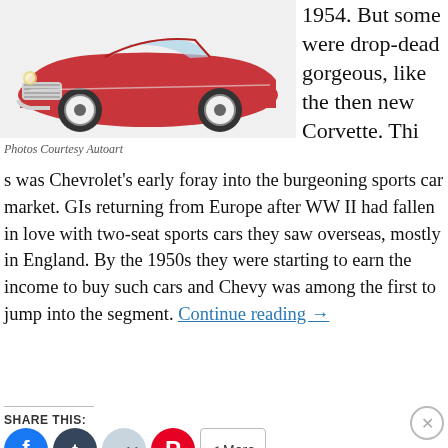[Figure (photo): Red 1954 Chevrolet Corvette sports car, front three-quarter view, white wall tires, chrome grille, photographed on white background.]
Photos Courtesy Autoart
1954. But some were drop-dead gorgeous, like the then new Corvette. This was Chevrolet's early foray into the burgeoning sports car market. GIs returning from Europe after WW II had fallen in love with two-seat sports cars they saw overseas, mostly in England. By the 1950s they were starting to earn the income to buy such cars and Chevy was among the first to jump into the segment. Continue reading →
SHARE THIS:
[Figure (screenshot): Social share buttons: Facebook (blue circle), Tumblr (dark circle), Reddit (light blue circle), Pinterest (red circle), and a More button with share icon.]
Advertisements
[Figure (screenshot): Seamless food delivery advertisement banner with pizza image on dark background, Seamless logo in red, and ORDER NOW button.]